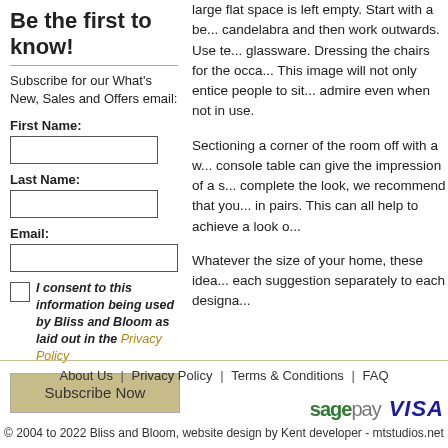Be the first to know!
Subscribe for our What's New, Sales and Offers email:
First Name: [input] Last Name: [input] Email: [input]
I consent to this information being used by Bliss and Bloom as laid out in the Privacy Policy
Subscribe Now
large flat space is left empty. Start with a be... candelabra and then work outwards. Use te... glassware. Dressing the chairs for the occa... This image will not only entice people to sit... admire even when not in use.
Sectioning a corner of the room off with a w... console table can give the impression of a s... complete the look, we recommend that you... in pairs. This can all help to achieve a look o...
Whatever the size of your home, these idea... each suggestion separately to each designa...
About Us | Privacy Policy | Terms & Conditions | FAQ
sage pay VISA
© 2004 to 2022 Bliss and Bloom, website design by Kent developer - mtstudios.net